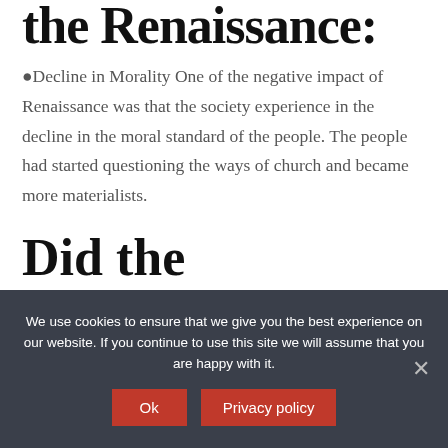the Renaissance:
●Decline in Morality One of the negative impact of Renaissance was that the society experience in the decline in the moral standard of the people. The people had started questioning the ways of church and became more materialists.
Did the Renaissance really happen?
We use cookies to ensure that we give you the best experience on our website. If you continue to use this site we will assume that you are happy with it.
Ok  Privacy policy